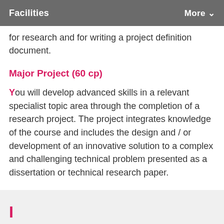Facilities    More ∨
for research and for writing a project definition document.
Major Project (60 cp)
You will develop advanced skills in a relevant specialist topic area through the completion of a research project. The project integrates knowledge of the course and includes the design and / or development of an innovative solution to a complex and challenging technical problem presented as a dissertation or technical research paper.